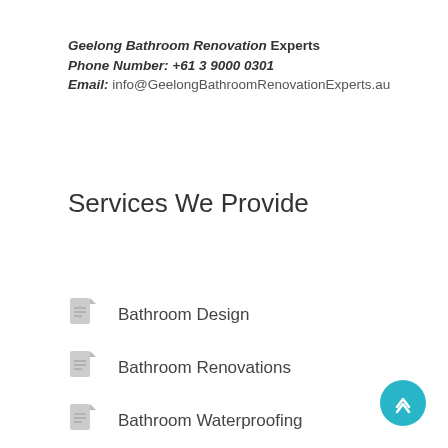Geelong Bathroom Renovation Experts
Phone Number: +61 3 9000 0301
Email: info@GeelongBathroomRenovationExperts.au
Services We Provide
Bathroom Design
Bathroom Renovations
Bathroom Waterproofing
Shower Screens Installation